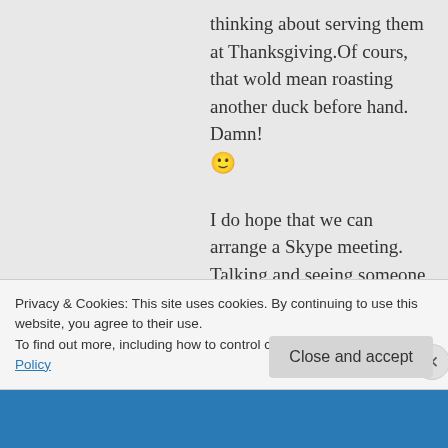thinking about serving them at Thanksgiving.Of cours, that wold mean roasting another duck before hand. Damn! 🙂
I do hope that we can arrange a Skype meeting. Talking and seeing someone from the Netherlands? “Incredibile!” She’ll be talking about if for months. 🙂
★ Like
↳ Reply
Privacy & Cookies: This site uses cookies. By continuing to use this website, you agree to their use.
To find out more, including how to control cookies, see here: Cookie Policy
Close and accept